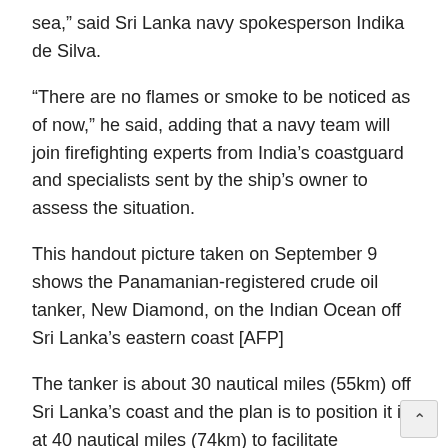sea,” said Sri Lanka navy spokesperson Indika de Silva.
“There are no flames or smoke to be noticed as of now,” he said, adding that a navy team will join firefighting experts from India’s coastguard and specialists sent by the ship’s owner to assess the situation.
This handout picture taken on September 9 shows the Panamanian-registered crude oil tanker, New Diamond, on the Indian Ocean off Sri Lanka’s eastern coast [AFP]
The tanker is about 30 nautical miles (55km) off Sri Lanka’s coast and the plan is to position it is at 40 nautical miles (74km) to facilitate salvaging work, de Silva said.